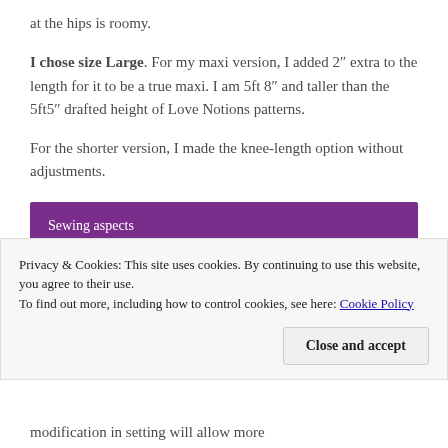at the hips is roomy.
I chose size Large. For my maxi version, I added 2″ extra to the length for it to be a true maxi. I am 5ft 8″ and taller than the 5ft5″ drafted height of Love Notions patterns.
For the shorter version, I made the knee-length option without adjustments.
Sewing aspects
The Seam allowance is 3/8″
Privacy & Cookies: This site uses cookies. By continuing to use this website, you agree to their use.
To find out more, including how to control cookies, see here: Cookie Policy
Close and accept
modification in setting will allow more